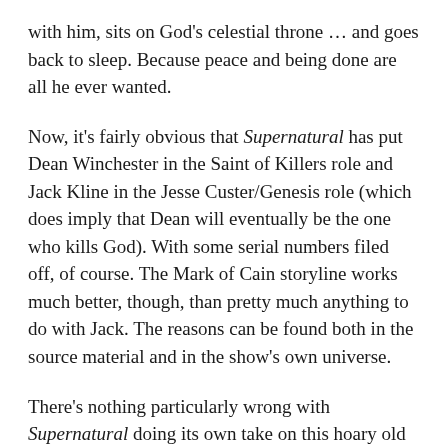with him, sits on God's celestial throne … and goes back to sleep. Because peace and being done are all he ever wanted.
Now, it's fairly obvious that Supernatural has put Dean Winchester in the Saint of Killers role and Jack Kline in the Jesse Custer/Genesis role (which does imply that Dean will eventually be the one who kills God). With some serial numbers filed off, of course. The Mark of Cain storyline works much better, though, than pretty much anything to do with Jack. The reasons can be found both in the source material and in the show's own universe.
There's nothing particularly wrong with Supernatural doing its own take on this hoary old tale. The creators of Preacher themselves admitted that they based the Saint on a combination of characters played by Clint Eastwood and Lee Marvin. A lot of what they did in the comic was hardly all that original. It was the way they used it to tell a story that made it popular.